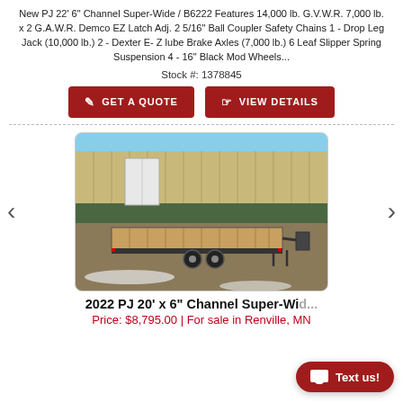New PJ 22' 6" Channel Super-Wide / B6222 Features 14,000 lb. G.V.W.R. 7,000 lb. x 2 G.A.W.R. Demco EZ Latch Adj. 2 5/16" Ball Coupler Safety Chains 1 - Drop Leg Jack (10,000 lb.) 2 - Dexter E- Z lube Brake Axles (7,000 lb.) 6 Leaf Slipper Spring Suspension 4 - 16" Black Mod Wheels...
Stock #: 1378845
[Figure (other): Red GET A QUOTE button with document icon]
[Figure (other): Red VIEW DETAILS button with tag icon]
[Figure (photo): Photo of a 2022 PJ flatbed trailer parked outside a metal building with green and tan siding. The trailer has a wooden deck and dual axles, photographed in winter conditions with light snow on the ground.]
2022 PJ 20' x 6" Channel Super-Wid...
Price: $8,795.00 | For sale in Renville, MN